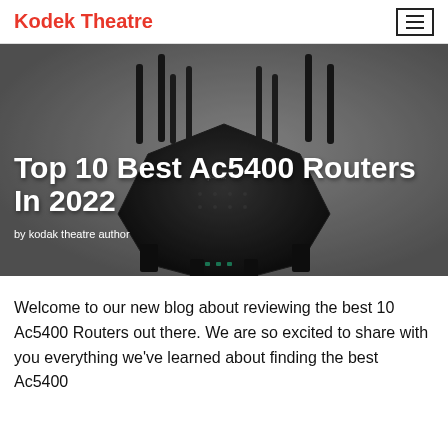Kodek Theatre
[Figure (photo): A black TP-Link AC5400 router with multiple antennas on a gray background, with overlaid title text 'Top 10 Best Ac5400 Routers In 2022' and author credit 'by kodak theatre author']
Top 10 Best Ac5400 Routers In 2022
by kodak theatre author
Welcome to our new blog about reviewing the best 10 Ac5400 Routers out there. We are so excited to share with you everything we've learned about finding the best Ac5400